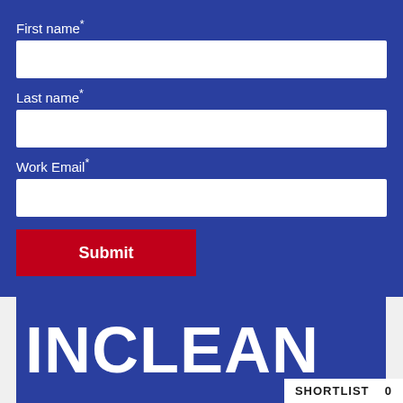First name*
Last name*
Work Email*
Submit
[Figure (logo): INCLEAN logo in large white bold text on dark blue background]
SHORTLIST 0